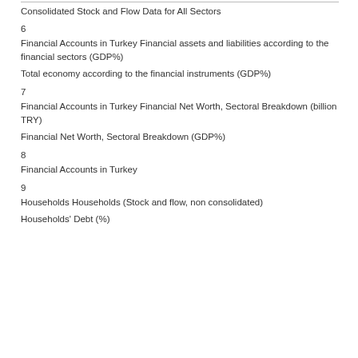Consolidated Stock and Flow Data for All Sectors
6
Financial Accounts in Turkey Financial assets and liabilities according to the financial sectors (GDP%)
Total economy according to the financial instruments (GDP%)
7
Financial Accounts in Turkey Financial Net Worth, Sectoral Breakdown (billion TRY)
Financial Net Worth, Sectoral Breakdown (GDP%)
8
Financial Accounts in Turkey
9
Households Households (Stock and flow, non consolidated)
Households' Debt (%)